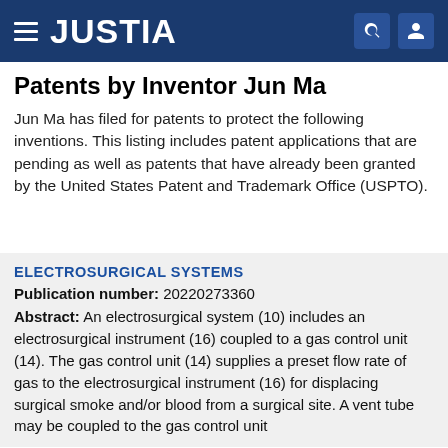JUSTIA
Patents by Inventor Jun Ma
Jun Ma has filed for patents to protect the following inventions. This listing includes patent applications that are pending as well as patents that have already been granted by the United States Patent and Trademark Office (USPTO).
ELECTROSURGICAL SYSTEMS
Publication number: 20220273360
Abstract: An electrosurgical system (10) includes an electrosurgical instrument (16) coupled to a gas control unit (14). The gas control unit (14) supplies a preset flow rate of gas to the electrosurgical instrument (16) for displacing surgical smoke and/or blood from a surgical site. A vent tube may be coupled to the gas control unit (14) for venting gas within the gas control unit